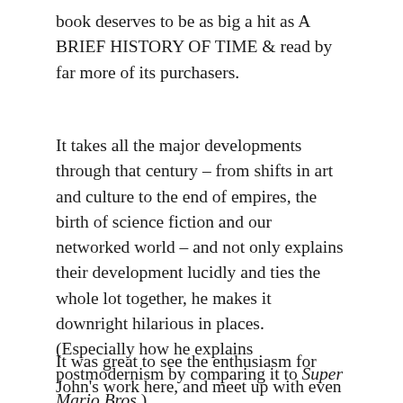book deserves to be as big a hit as A BRIEF HISTORY OF TIME & read by far more of its purchasers.
It takes all the major developments through that century – from shifts in art and culture to the end of empires, the birth of science fiction and our networked world – and not only explains their development lucidly and ties the whole lot together, he makes it downright hilarious in places. (Especially how he explains postmodernism by comparing it to Super Mario Bros.)
It was great to see the enthusiasm for John's work here, and meet up with even more of the